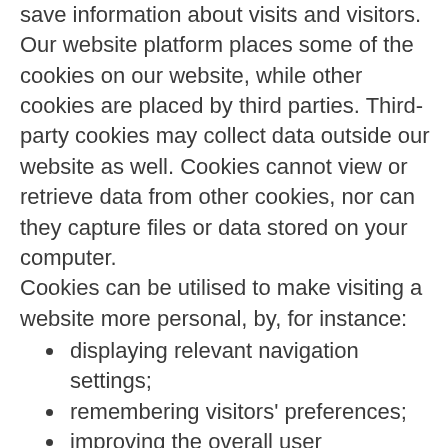save information about visits and visitors. Our website platform places some of the cookies on our website, while other cookies are placed by third parties. Third-party cookies may collect data outside our website as well. Cookies cannot view or retrieve data from other cookies, nor can they capture files or data stored on your computer.
Cookies can be utilised to make visiting a website more personal, by, for instance:
displaying relevant navigation settings;
remembering visitors' preferences;
improving the overall user experience and
limiting the number of advertisements shown